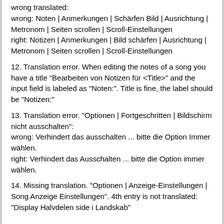wrong translated:
wrong: Noten | Anmerkungen | Schärfen Bild | Ausrichtung | Metronom | Seiten scrollen | Scroll-Einstellungen
right: Notizen | Anmerkungen | Bild schärfen | Ausrichtung | Metronom | Seiten scrollen | Scroll-Einstellungen
12. Translation error. When editing the notes of a song you have a title "Bearbeiten von Notizen für <Title>" and the input field is labeled as "Noten:". Title is fine, the label should be "Notizen:"
13. Translation error. "Optionen | Fortgeschritten | Bildschirm nicht ausschalten":
wrong: Verhindert das ausschalten ... bitte die Option Immer wählen.
right: Verhindert das Ausschalten ... bitte die Option immer wählen.
14. Missing translation. "Optionen | Anzeige-Einstellungen | Song Anzeige Einstellungen". 4th entry is not translated: "Display Halvdelen side i Landskab"